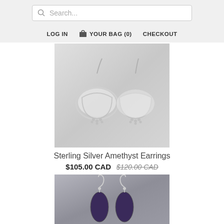Search...
LOG IN  YOUR BAG (0)  CHECKOUT
[Figure (photo): Sterling silver amethyst earrings with triangular transparent stone settings and pearl-like bead clusters at the bottom, photographed on a light grey background]
Sterling Silver Amethyst Earrings
$105.00 CAD $120.00 CAD
[Figure (photo): Dark purple amethyst teardrop earrings with silver hook wires, photographed on a grey stone background]